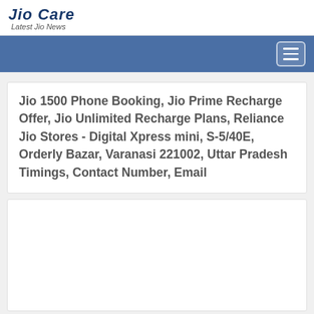Jio Care - Latest Jio News
Jio 1500 Phone Booking, Jio Prime Recharge Offer, Jio Unlimited Recharge Plans, Reliance Jio Stores - Digital Xpress mini, S-5/40E, Orderly Bazar, Varanasi 221002, Uttar Pradesh Timings, Contact Number, Email